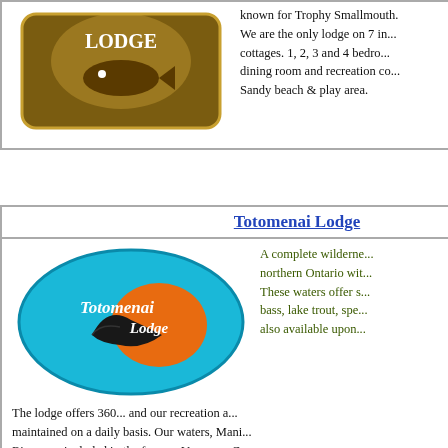[Figure (logo): Lodge logo — brown/gold fish lodge emblem (partially visible at top)]
known for Trophy Smallmouth. We are the only lodge on 7 in... cottages. 1, 2, 3 and 4 bedroom... dining room and recreation co... Sandy beach & play area.
Totomenai Lodge
[Figure (logo): Totomenai Lodge oval logo: teal/blue oval with orange sun, black bird silhouette, white cursive text 'Totomenai Lodge']
A complete wilderness northern Ontario with... These waters offer s... bass, lake trout, spe... also available upon...
The lodge offers 360... and our recreation a... maintained on a daily basis. Our waters, Mani... River, are included in the famous Voyageur Ca... Lake Superior.
Moose Horn Lodge
[Figure (photo): Moose Horn Lodge photo: moose standing in water with forested background, lodge name overlay at bottom]
Moose Horn Lodge... wilderness region... and surrounding la... pike, smallmouth b... Canada.
Our log style fully equipped cottages are com... the main lodge. Kids can fish from the shore, s... viewing in their natural habitat and a good cha... wolves.